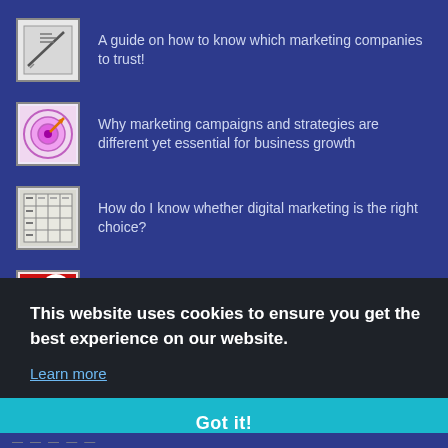A guide on how to know which marketing companies to trust!
Why marketing campaigns and strategies are different yet essential for business growth
How do I know whether digital marketing is the right choice?
How to effectively evaluate marketing ideas and spot a “dead duck”
This website uses cookies to ensure you get the best experience on our website.
Learn more
Got it!